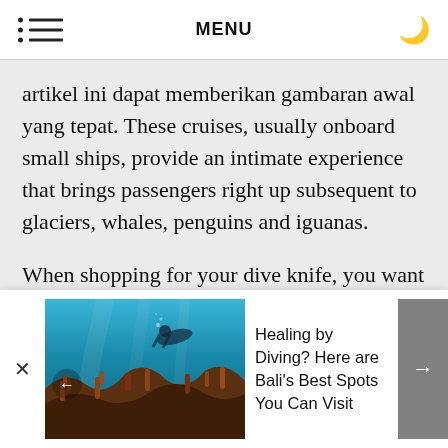MENU
artikel ini dapat memberikan gambaran awal yang tepat. These cruises, usually onboard small ships, provide an intimate experience that brings passengers right up subsequent to glaciers, whales, penguins and iguanas.
When shopping for your dive knife, you want to find one which matches your sort of diving. The Overland Observe is Australia's premier alpine walk – a sixty five km. six-day trek via the center of the Cradle
[Figure (photo): Underwater scuba diver photo above coral reef, used as advertisement image for Bali diving article]
Healing by Diving? Here are Bali's Best Spots You Can Visit